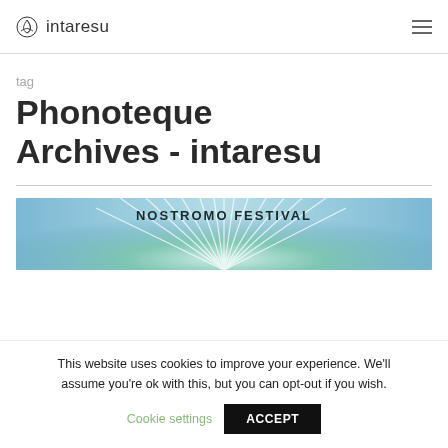intaresu
tag
Phonoteque Archives - intaresu
[Figure (illustration): Nostromo Festival banner image with radiating light rays on a blue-green gradient background with text 'NOSTROMO FESTIVAL']
This website uses cookies to improve your experience. We'll assume you're ok with this, but you can opt-out if you wish.
Cookie settings  ACCEPT